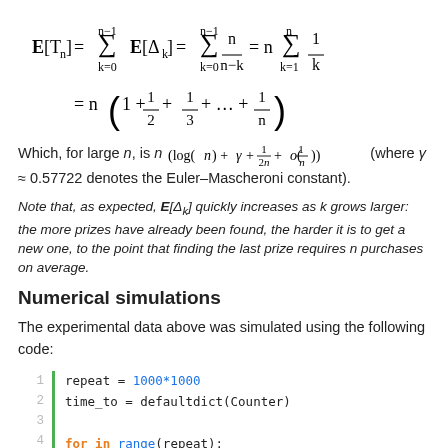Which, for large n, is n(log(n) + γ + 1/(2n) + o(1/n)) (where γ ≈ 0.57722 denotes the Euler–Mascheroni constant).
Note that, as expected, E[Δ_k] quickly increases as k grows larger: the more prizes have already been found, the harder it is to get a new one, to the point that finding the last prize requires n purchases on average.
Numerical simulations
The experimental data above was simulated using the following code:
repeat = 1000*1000
time_to = defaultdict(Counter)

for   in range(repeat):